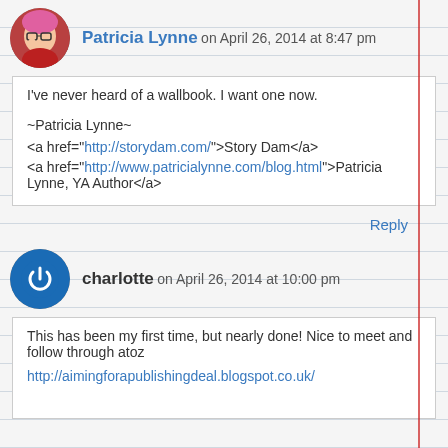Patricia Lynne on April 26, 2014 at 8:47 pm
I've never heard of a wallbook. I want one now.

~Patricia Lynne~
<a href="http://storydam.com/">Story Dam</a>
<a href="http://www.patricialynne.com/blog.html">Patricia Lynne, YA Author</a>
Reply
charlotte on April 26, 2014 at 10:00 pm
This has been my first time, but nearly done! Nice to meet and follow through atoz
http://aimingforapublishingdeal.blogspot.co.uk/